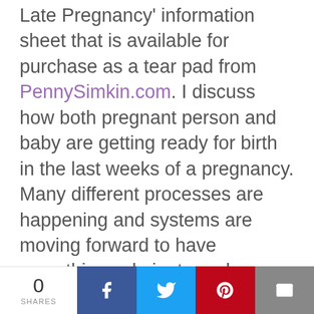find out Penny Simkin's 'Events of Late Pregnancy' information sheet that is available for purchase as a tear pad from PennySimkin.com. I discuss how both pregnant person and baby are getting ready for birth in the last weeks of a pregnancy. Many different processes are happening and systems are moving forward to have everything culminate and coordinate in the labor and birth. Each and every process is critical to a healthy baby and a body that is ready for labor. I divide the class into four groups and assign each group to be either a
0 SHARES | Facebook | Twitter | Pinterest | Email